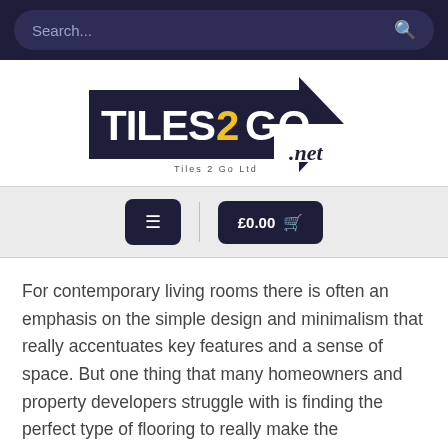Search...
[Figure (logo): Tiles2Go.net logo — dark navy arrow shape with bold white text 'TILES2GO' and yellow '2', with '.net' in cursive and 'Tiles 2 Go Ltd' subtitle]
[Figure (screenshot): Navigation bar with hamburger menu button and shopping cart button showing £0.00]
For contemporary living rooms there is often an emphasis on the simple design and minimalism that really accentuates key features and a sense of space. But one thing that many homeowners and property developers struggle with is finding the perfect type of flooring to really make the contemporary living room stand out. And this is where stone effect floor tiles could be the perfect choice.